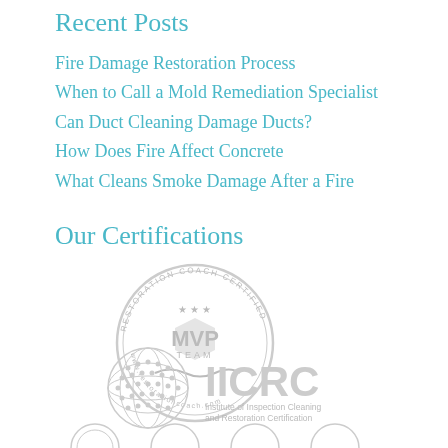Recent Posts
Fire Damage Restoration Process
When to Call a Mold Remediation Specialist
Can Duct Cleaning Damage Ducts?
How Does Fire Affect Concrete
What Cleans Smoke Damage After a Fire
Our Certifications
[Figure (logo): Restoration Coach Certified MVP Team circular badge/seal in light gray]
[Figure (logo): IICRC - Institute of Inspection Cleaning and Restoration Certification logo with globe graphic in light gray]
[Figure (logo): Partial logos at bottom of page, cut off]